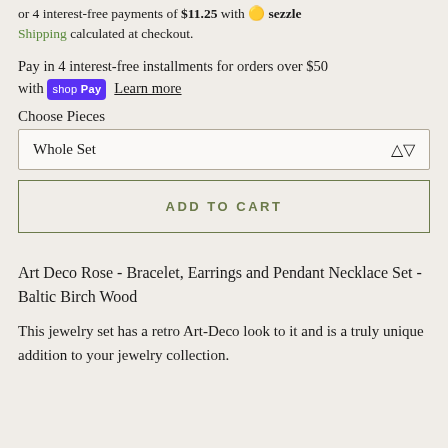or 4 interest-free payments of $11.25 with sezzle. Shipping calculated at checkout.
Pay in 4 interest-free installments for orders over $50 with shop Pay  Learn more
Choose Pieces
Whole Set
ADD TO CART
Art Deco Rose - Bracelet, Earrings and Pendant Necklace Set - Baltic Birch Wood
This jewelry set has a retro Art-Deco look to it and is a truly unique addition to your jewelry collection.